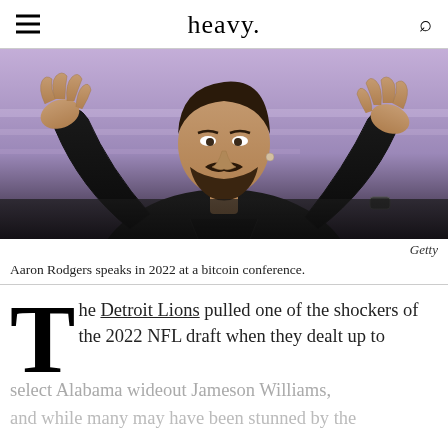heavy.
[Figure (photo): Aaron Rodgers speaking at a bitcoin conference in 2022, wearing a black leather jacket, gesturing with both hands raised, against a purple/blue background]
Getty
Aaron Rodgers speaks in 2022 at a bitcoin conference.
The Detroit Lions pulled one of the shockers of the 2022 NFL draft when they dealt up to select Alabama wideout Jameson Williams, and while many may have been stunned by the